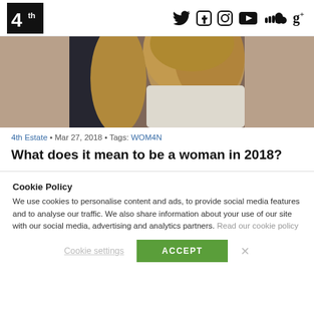4th [logo] — social icons: Twitter, Facebook, Instagram, YouTube, SoundCloud, Google+
[Figure (photo): Close-up photo of a woman with blonde/reddish hair, partially cropped, cropped at top]
4th Estate • Mar 27, 2018 • Tags: WOM4N
What does it mean to be a woman in 2018?
Cookie Policy
We use cookies to personalise content and ads, to provide social media features and to analyse our traffic. We also share information about your use of our site with our social media, advertising and analytics partners. Read our cookie policy
Cookie settings   ACCEPT   ×